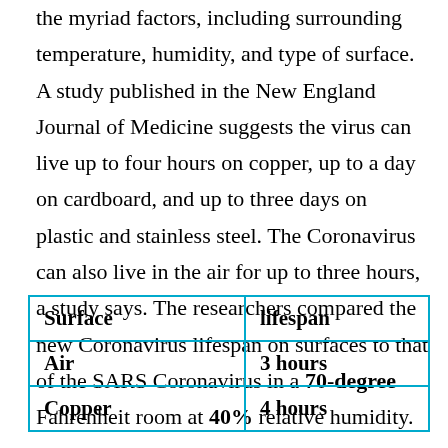the myriad factors, including surrounding temperature, humidity, and type of surface. A study published in the New England Journal of Medicine suggests the virus can live up to four hours on copper, up to a day on cardboard, and up to three days on plastic and stainless steel. The Coronavirus can also live in the air for up to three hours, a study says. The researchers compared the new Coronavirus lifespan on surfaces to that of the SARS Coronavirus in a 70-degree Fahrenheit room at 40% relative humidity.
| Surface | lifespan |
| --- | --- |
| Air | 3 hours |
| Copper | 4 hours |